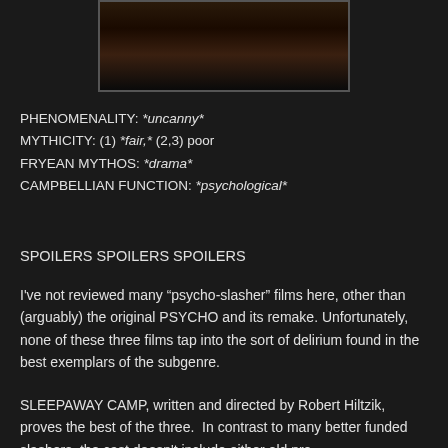[Figure (photo): A dark film still showing a figure, likely from a horror movie, against a dark background]
PHENOMENALITY: *uncanny*
MYTHICITY: (1) *fair,* (2,3) poor
FRYEAN MYTHOS: *drama*
CAMPBELLIAN FUNCTION: *psychological*
SPOILERS SPOILERS SPOILERS
I've not reviewed many “psycho-slasher” films here, other than (arguably) the original PSYCHO and its remake. Unfortunately, none of these three films tap into the sort of delirium found in the best exemplars of the subgenre.
SLEEPAWAY CAMP, written and directed by Robert Hiltzik, proves the best of the three.  In contrast to many better funded slashers, the cast doesn't include either old pro